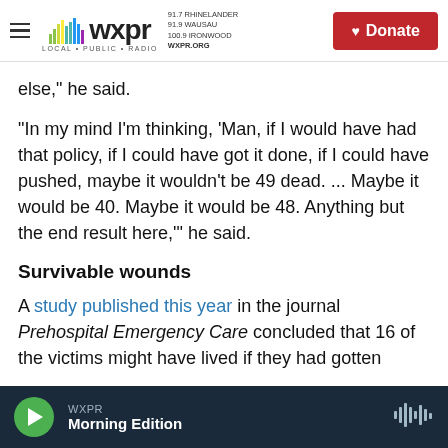WXPR | LOCAL • PUBLIC • RADIO | 91.7 RHINELANDER 91.9 WAUSAU 100.9 IRONWOOD WXPR.ORG | Donate
else," he said.
"In my mind I'm thinking, 'Man, if I would have had that policy, if I could have got it done, if I could have pushed, maybe it wouldn't be 49 dead. ... Maybe it would be 40. Maybe it would be 48. Anything but the end result here,'" he said.
Survivable wounds
A study published this year in the journal Prehospital Emergency Care concluded that 16 of the victims might have lived if they had gotten
WXPR | Morning Edition